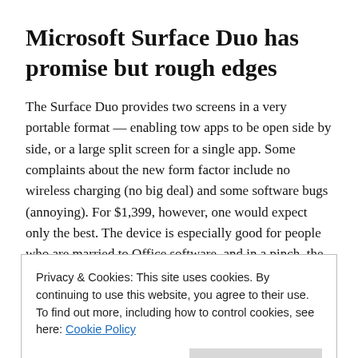Microsoft Surface Duo has promise but rough edges
The Surface Duo provides two screens in a very portable format — enabling tow apps to be open side by side, or a large split screen for a single app. Some complaints about the new form factor include no wireless charging (no big deal) and some software bugs (annoying). For $1,399, however, one would expect only the best. The device is especially good for people who are married to Office software, and in a pinch, the clam shell design can emulate a laptop with an onscreen
Privacy & Cookies: This site uses cookies. By continuing to use this website, you agree to their use.
To find out more, including how to control cookies, see here: Cookie Policy
products and making them better, and in this case, they are